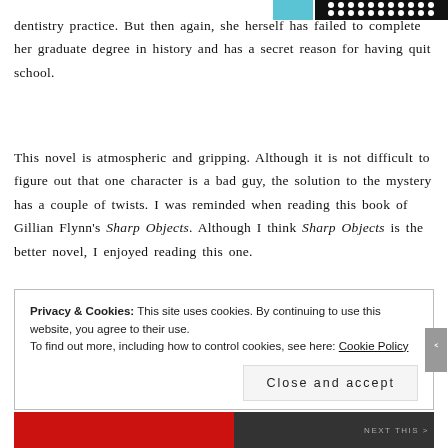dentistry practice. But then again, she herself has failed to complete her graduate degree in history and has a secret reason for having quit school.
This novel is atmospheric and gripping. Although it is not difficult to figure out that one character is a bad guy, the solution to the mystery has a couple of twists. I was reminded when reading this book of Gillian Flynn's Sharp Objects. Although I think Sharp Objects is the better novel, I enjoyed reading this one.
Privacy & Cookies: This site uses cookies. By continuing to use this website, you agree to their use. To find out more, including how to control cookies, see here: Cookie Policy